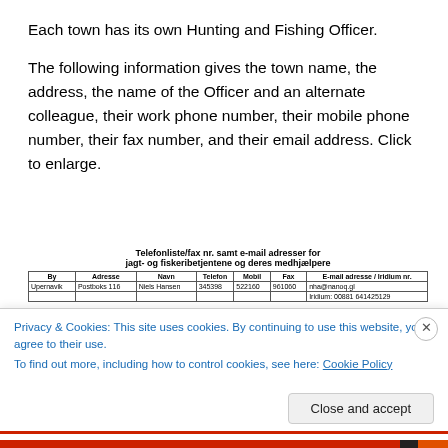Each town has its own Hunting and Fishing Officer.
The following information gives the town name, the address, the name of the Officer and an alternate colleague, their work phone number, their mobile phone number, their fax number, and their email address. Click to enlarge.
Telefonliste/fax nr. samt e-mail adresser for jagt- og fiskeribetjentene og deres medhjælpere
| By | Adresse | Navn | Telefon | Mobil | Fax | E-mail adresse / Iridium nr. |
| --- | --- | --- | --- | --- | --- | --- |
| Upernavik | Postboks 116 | Niels Hansen | 345398 | 522160 | 961060 | nha@nanoq.gl |
|  |  |  |  |  |  | Iridium: 00881 641425129 |
Privacy & Cookies: This site uses cookies. By continuing to use this website, you agree to their use.
To find out more, including how to control cookies, see here: Cookie Policy
Close and accept